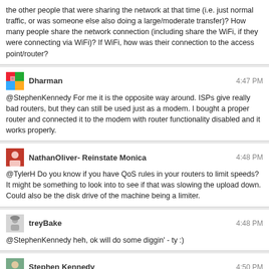the other people that were sharing the network at that time (i.e. just normal traffic, or was someone else also doing a large/moderate transfer)? How many people share the network connection (including share the WiFi, if they were connecting via WiFi)? If WiFi, how was their connection to the access point/router?
Dharman 4:47 PM @StephenKennedy For me it is the opposite way around. ISPs give really bad routers, but they can still be used just as a modem. I bought a proper router and connected it to the modem with router functionality disabled and it works properly.
NathanOliver- Reinstate Monica 4:48 PM @TylerH Do you know if you have QoS rules in your routers to limit speeds? It might be something to look into to see if that was slowing the upload down. Could also be the disk drive of the machine being a limiter.
treyBake 4:48 PM @StephenKennedy heh, ok will do some diggin' - ty :)
Stephen Kennedy 4:50 PM @treyBake If you really mean literally days to download > 1 GB then you might want to look at 4G. Check out the big telcos, unlimited data SIMs are a thing atm, and some of them also sell home 4G routers

Also, by an Ofcom ruling, they're not allowed to prevent you from putting a SIM intended for a phone into a modem (hence my SIM has unlimited calls and unlimited SMS too but it's only used for data)
Machavity 4:51 PM @TylerH I have 100mb fiber at work. That's decent in most cases.
treyBake 4:51 PM @StephenKennedy well, not literal days ;p it's where it's so slow that I don't wait for